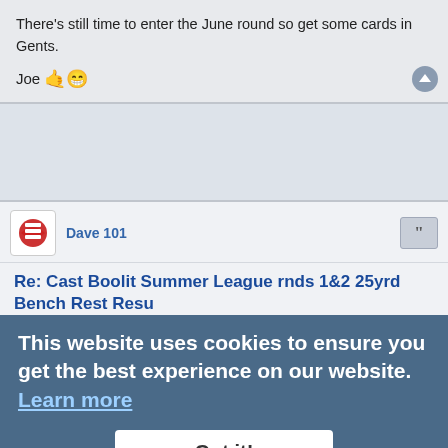There's still time to enter the June round so get some cards in Gents.
Joe 🤙😁
Dave 101
Re: Cast Boolit Summer League rnds 1&2 25yrd Bench Rest Resu
#24  Sat Jul 06, 2013 8:37 am
OK will do . Iam at the range on Sunday so I will post results tomorrow afternoon , I have some load testing to do so I will use these for entries so long as they are OK .
This website uses cookies to ensure you get the best experience on our website. Learn more
Got it!
Dave 101
Re: Cast Boolit Summer League rnds 1&2 25yrd Bench Rest Resu
#25  Sun Jul 07, 2013 12:07 pm